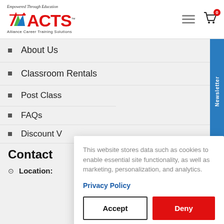[Figure (logo): ACTS Alliance Career Training Solutions logo with tagline Empowered Through Education]
About Us
Classroom Rentals
Post Class
FAQs
Discount V
Contact
Location:
This website stores data such as cookies to enable essential site functionality, as well as marketing, personalization, and analytics.
Privacy Policy
Accept
Deny